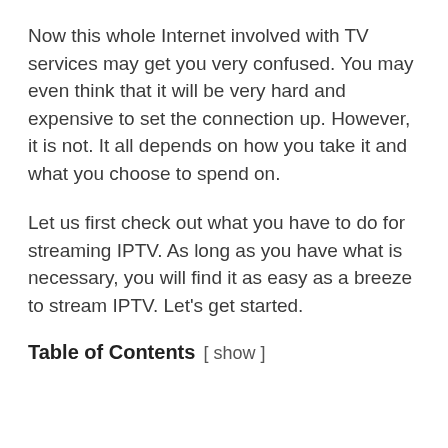Now this whole Internet involved with TV services may get you very confused. You may even think that it will be very hard and expensive to set the connection up. However, it is not. It all depends on how you take it and what you choose to spend on.
Let us first check out what you have to do for streaming IPTV. As long as you have what is necessary, you will find it as easy as a breeze to stream IPTV. Let's get started.
Table of Contents [ show ]